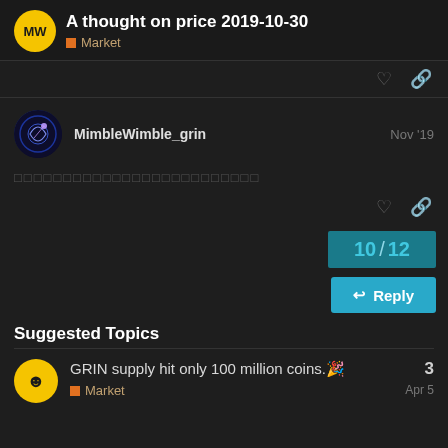A thought on price 2019-10-30 — Market
MimbleWimble_grin — Nov '19
[redacted/obscured text block]
10 / 12
Reply
Suggested Topics
GRIN supply hit only 100 million coins.🎉 — Market — Apr 5 — 3 replies